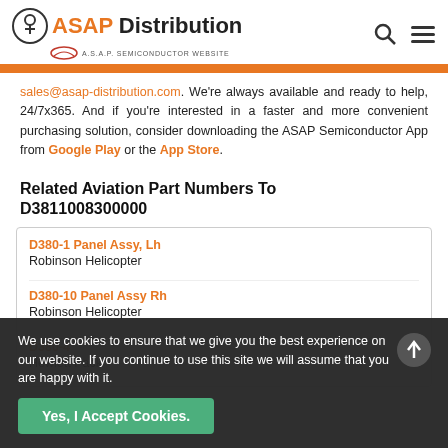[Figure (logo): ASAP Distribution logo with icon and 'AN A.S.A.P. SEMICONDUCTOR WEBSITE' subtitle]
sales@asap-distribution.com. We're always available and ready to help, 24/7x365. And if you're interested in a faster and more convenient purchasing solution, consider downloading the ASAP Semiconductor App from Google Play or the App Store.
Related Aviation Part Numbers To D3811008300000
D380-1 Panel Assy, Lh
Robinson Helicopter
D380-10 Panel Assy Rh
Robinson Helicopter
D380-4
Hewlett Pack...
We use cookies to ensure that we give you the best experience on our website. If you continue to use this site we will assume that you are happy with it.